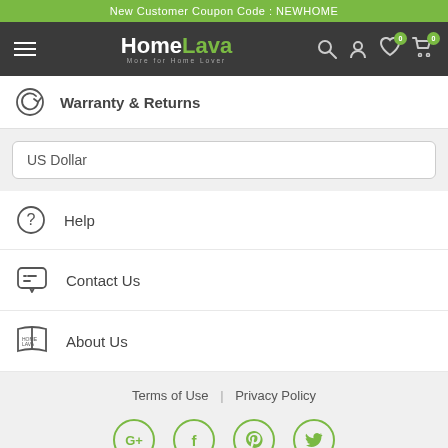New Customer Coupon Code : NEWHOME
[Figure (logo): HomeLava logo with hamburger menu and navigation icons (search, account, wishlist with badge 0, cart with badge 0)]
Warranty & Returns
US Dollar
Help
Contact Us
About Us
Terms of Use | Privacy Policy
[Figure (infographic): Social media icons: Google+, Facebook, Pinterest, Twitter — all in green circle outlines]